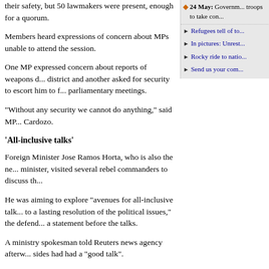their safety, but 50 lawmakers were present, enough for a quorum.
24 May: Government troops to take con...
Refugees tell of to...
In pictures: Unrest...
Rocky ride to natio...
Send us your com...
Members heard expressions of concern about MPs unable to attend the session.
One MP expressed concern about reports of weapons d... district and another asked for security to escort him to f... parliamentary meetings.
"Without any security we cannot do anything," said MP... Cardozo.
'All-inclusive talks'
Foreign Minister Jose Ramos Horta, who is also the ne... minister, visited several rebel commanders to discuss th...
He was aiming to explore "avenues for all-inclusive talk... to a lasting resolution of the political issues," the defend... a statement before the talks.
A ministry spokesman told Reuters news agency afterw... sides had had a "good talk".
He planned to visit more rebel leaders in the next few d... said.
The talks came amid continuing violence in Dili, where ... hurled rocks at each other and houses were reportedly...